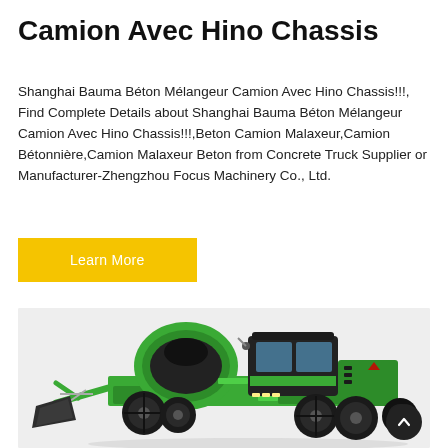Camion Avec Hino Chassis
Shanghai Bauma Béton Mélangeur Camion Avec Hino Chassis!!!, Find Complete Details about Shanghai Bauma Béton Mélangeur Camion Avec Hino Chassis!!!,Beton Camion Malaxeur,Camion Bétonnière,Camion Malaxeur Beton from Concrete Truck Supplier or Manufacturer-Zhengzhou Focus Machinery Co., Ltd.
Learn More
[Figure (photo): A green self-loading concrete mixer machine (camion malaxeur) with a black enclosed cab, front loading bucket, drum mixer, and large off-road tires, photographed on a light gray background.]